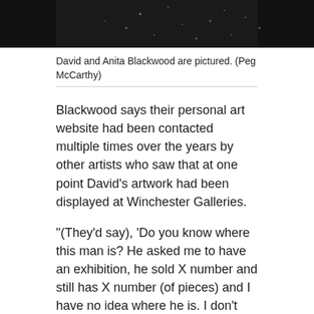[Figure (photo): Top portion of a photo showing David and Anita Blackwood, dark clothing visible against a light background.]
David and Anita Blackwood are pictured. (Peg McCarthy)
Blackwood says their personal art website had been contacted multiple times over the years by other artists who saw that at one point David's artwork had been displayed at Winchester Galleries.
"(They'd say), 'Do you know where this man is? He asked me to have an exhibition, he sold X number and still has X number (of pieces) and I have no idea where he is. I don't know how to contact him,'" Blackwood says of the messages.
"Those are people who are depending on that income for their livelihood," she said. "This is a